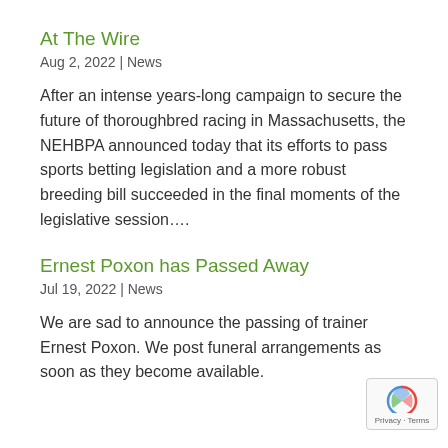At The Wire
Aug 2, 2022 | News
After an intense years-long campaign to secure the future of thoroughbred racing in Massachusetts, the NEHBPA announced today that its efforts to pass sports betting legislation and a more robust breeding bill succeeded in the final moments of the legislative session....
Ernest Poxon has Passed Away
Jul 19, 2022 | News
We are sad to announce the passing of trainer Ernest Poxon. We post funeral arrangements as soon as they become available.